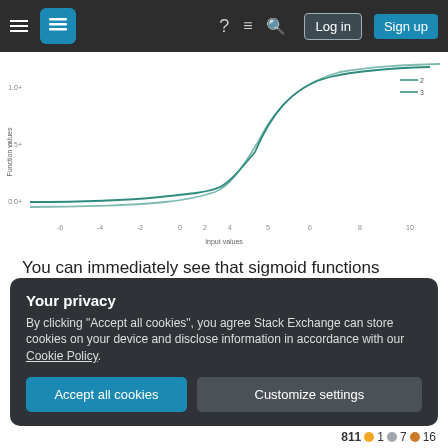Stack Exchange navigation bar with Log in and Sign up buttons
[Figure (continuous-plot): Line chart showing sigmoid/activation function values (Function values on y-axis, Input values on x-axis). Two lines plotted showing vanishing gradient behavior, curves flatten near top and bottom.]
You can immediately see that sigmoid functions "squash" their inputs resulting in the vanishing gradient problem: derivatives approach zero as n (the number of repeated applications) approaches infinity.
Your privacy
By clicking "Accept all cookies", you agree Stack Exchange can store cookies on your device and disclose information in accordance with our Cookie Policy.
Accept all cookies   Customize settings
811 1 7 16